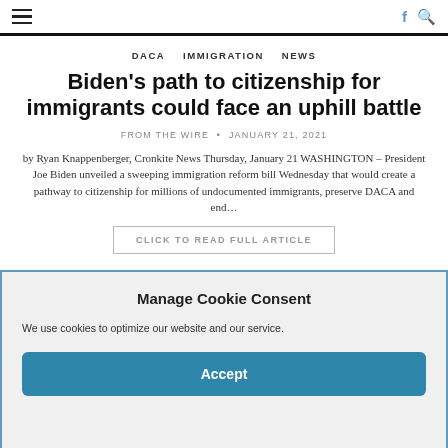≡  f 🔍
DACA  IMMIGRATION  NEWS
Biden's path to citizenship for immigrants could face an uphill battle
FROM THE WIRE · JANUARY 21, 2021
by Ryan Knappenberger, Cronkite News Thursday, January 21 WASHINGTON – President Joe Biden unveiled a sweeping immigration reform bill Wednesday that would create a pathway to citizenship for millions of undocumented immigrants, preserve DACA and end…
CLICK TO READ FULL ARTICLE
Manage Cookie Consent
We use cookies to optimize our website and our service.
Accept